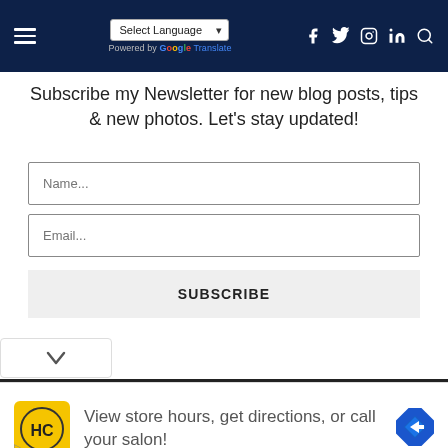Select Language ▾ | Powered by Google Translate | [social icons] [search]
Subscribe my Newsletter for new blog posts, tips & new photos. Let's stay updated!
Name...
Email...
SUBSCRIBE
[Figure (screenshot): Advertisement banner: HC logo (yellow circle with HC letters), text 'View store hours, get directions, or call your salon!', blue direction sign icon]